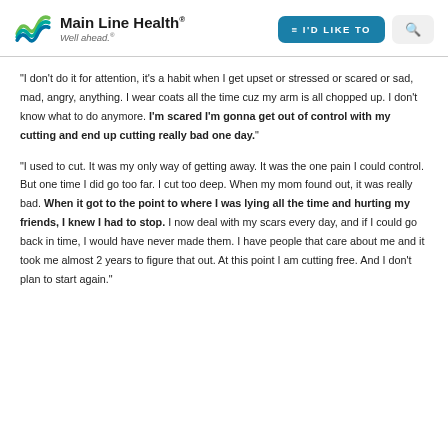Main Line Health® Well ahead.
"I don't do it for attention, it's a habit when I get upset or stressed or scared or sad, mad, angry, anything. I wear coats all the time cuz my arm is all chopped up. I don't know what to do anymore. I'm scared I'm gonna get out of control with my cutting and end up cutting really bad one day."
"I used to cut. It was my only way of getting away. It was the one pain I could control. But one time I did go too far. I cut too deep. When my mom found out, it was really bad. When it got to the point to where I was lying all the time and hurting my friends, I knew I had to stop. I now deal with my scars every day, and if I could go back in time, I would have never made them. I have people that care about me and it took me almost 2 years to figure that out. At this point I am cutting free. And I don't plan to start again."